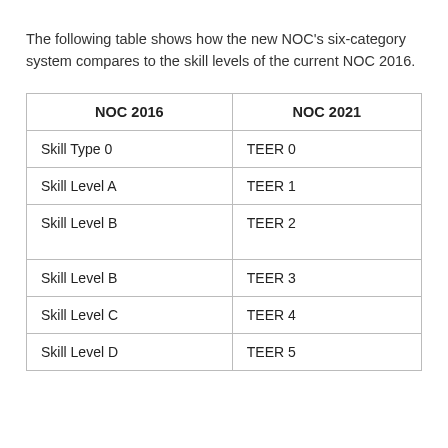The following table shows how the new NOC's six-category system compares to the skill levels of the current NOC 2016.
| NOC 2016 | NOC 2021 |
| --- | --- |
| Skill Type 0 | TEER 0 |
| Skill Level A | TEER 1 |
| Skill Level B | TEER 2 |
| Skill Level B | TEER 3 |
| Skill Level C | TEER 4 |
| Skill Level D | TEER 5 |